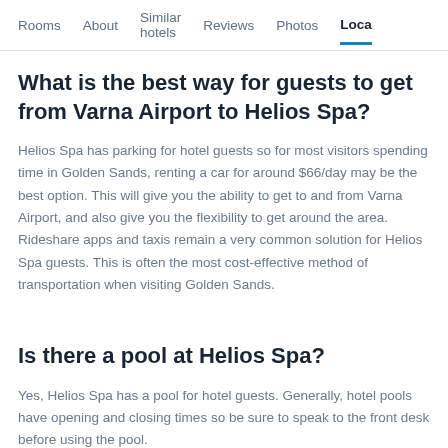Rooms  About  Similar hotels  Reviews  Photos  Loca…
What is the best way for guests to get from Varna Airport to Helios Spa?
Helios Spa has parking for hotel guests so for most visitors spending time in Golden Sands, renting a car for around $66/day may be the best option. This will give you the ability to get to and from Varna Airport, and also give you the flexibility to get around the area. Rideshare apps and taxis remain a very common solution for Helios Spa guests. This is often the most cost-effective method of transportation when visiting Golden Sands.
Is there a pool at Helios Spa?
Yes, Helios Spa has a pool for hotel guests. Generally, hotel pools have opening and closing times so be sure to speak to the front desk before using the pool.